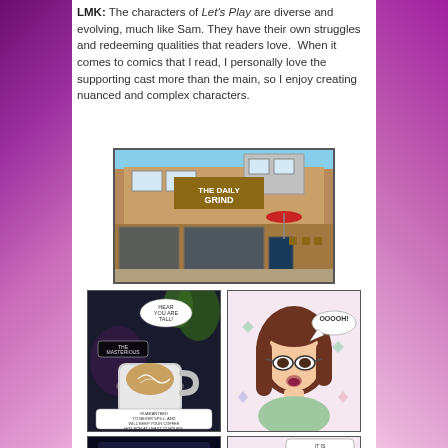LMK: The characters of Let's Play are diverse and evolving, much like Sam. They have their own struggles and redeeming qualities that readers love. When it comes to comics that I read, I personally love the supporting cast more than the main, so I enjoy creating nuanced and complex characters.
[Figure (illustration): Exterior view of a coffee shop called 'The Daily Grind' - a modern building with large windows, outdoor seating, and a red umbrella]
[Figure (illustration): Comic panel showing a coffee mug with latte art on a dark background, with speech bubbles reading 'The Masterious' and 'GUARANTEED TO NEVER SPILL, AND WILL KEEP YOUR COFFEE HOT FOR AT LEAST 12 HOURS.']
[Figure (illustration): Comic panel showing a girl with brown hair and glasses with a speech bubble reading 'OOOOH!']
[Figure (illustration): Comic panel showing dark background with 'The Masterious' text]
[Figure (illustration): Comic panel showing the girl with speech bubble reading 'IT IS DANGEROUS TO GO ALONE.']